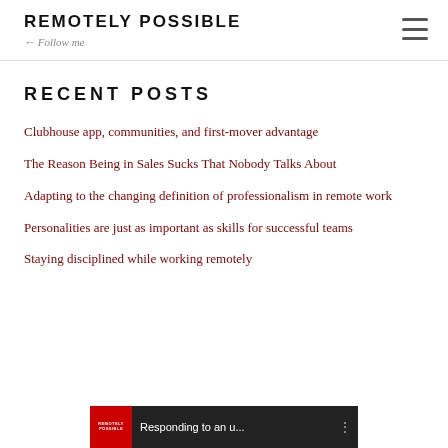REMOTELY POSSIBLE
← Follow me
RECENT POSTS
Clubhouse app, communities, and first-mover advantage
The Reason Being in Sales Sucks That Nobody Talks About
Adapting to the changing definition of professionalism in remote work
Personalities are just as important as skills for successful teams
Staying disciplined while working remotely
[Figure (screenshot): Video thumbnail showing Remotely Possible logo and text 'Responding to an u...']